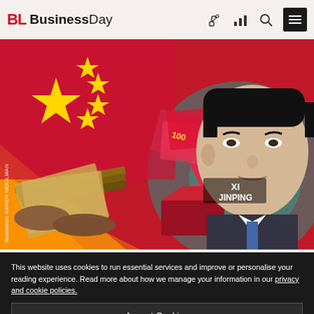BL BusinessDay
[Figure (illustration): Composite illustration showing the Chinese flag with red background and yellow stars, hands exchanging money/banknotes, a large Chinese Yuan (¥) currency symbol, stacks of colorful banknotes, and a photographic portrait of Xi Jinping labeled 'XI JINPING'. Watermark/credit text reads 'Illustration: KAREN MOOLMAN' vertically on left side.]
The writer argues that China-Africa relations have been nurtured on a heavy diet of credit lines in the last 20 years, but that seems to be changing. Picture: KAREN MOOLMAN
This website uses cookies to run essential services and improve or personalise your reading experience. Read more about how we manage your information in our privacy and cookie policies.
Accept Cookies